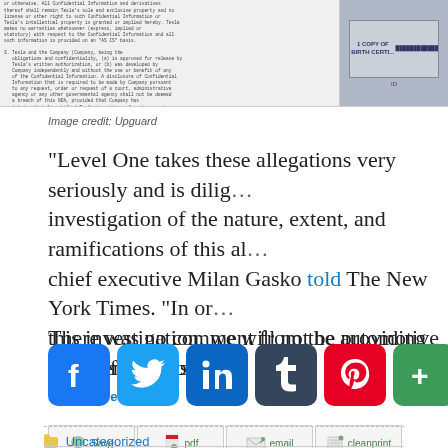[Figure (screenshot): Scanned document pages showing confidential NDA text alongside a redacted ID card]
Image credit: Upguard
“Level One takes these allegations very seriously and is diligently conducting an investigation of the nature, extent, and ramifications of this alleged incident,” chief executive Milan Gasko told The New York Times. “In order to not compromise this investigation, we will not be providing comment at this time.”
There was no comment from the automotive firms affected by
via: hackread
[Figure (screenshot): Action buttons row: Save, pdf, email, cleanprint]
[Figure (screenshot): Social media sharing icons: Facebook, Twitter, LinkedIn, Tumblr, Pinterest, share]
Uncategorized